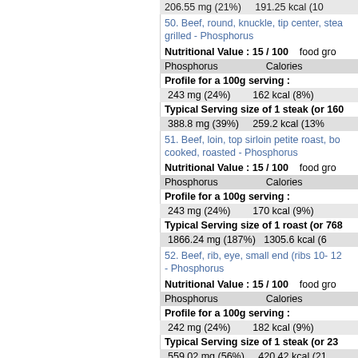206.55 mg (21%)    191.25 kcal (10)
50. Beef, round, knuckle, tip center, steak, grilled - Phosphorus
Nutritional Value : 15 / 100    food gro
| Phosphorus | Calories |
| --- | --- |
Profile for a 100g serving :
243 mg (24%)    162 kcal (8%)
Typical Serving size of 1 steak (or 160
388.8 mg (39%)    259.2 kcal (13%)
51. Beef, loin, top sirloin petite roast, boneless, cooked, roasted - Phosphorus
Nutritional Value : 15 / 100    food gro
| Phosphorus | Calories |
| --- | --- |
Profile for a 100g serving :
243 mg (24%)    170 kcal (9%)
Typical Serving size of 1 roast (or 768
1866.24 mg (187%)    1305.6 kcal (65%)
52. Beef, rib, eye, small end (ribs 10-12) - Phosphorus
Nutritional Value : 15 / 100    food gro
| Phosphorus | Calories |
| --- | --- |
Profile for a 100g serving :
242 mg (24%)    182 kcal (9%)
Typical Serving size of 1 steak (or 23
559.02 mg (56%)    420.42 kcal (21%)
53. Beef, ribeye filet, boneless, separable